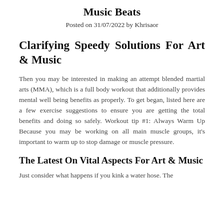Music Beats
Posted on 31/07/2022 by Khrisaor
Clarifying Speedy Solutions For Art & Music
Then you may be interested in making an attempt blended martial arts (MMA), which is a full body workout that additionally provides mental well being benefits as properly. To get began, listed here are a few exercise suggestions to ensure you are getting the total benefits and doing so safely. Workout tip #1: Always Warm Up Because you may be working on all main muscle groups, it's important to warm up to stop damage or muscle pressure.
The Latest On Vital Aspects For Art & Music
Just consider what happens if you kink a water hose. The